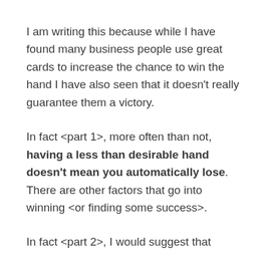I am writing this because while I have found many business people use great cards to increase the chance to win the hand I have also seen that it doesn't really guarantee them a victory.
In fact <part 1>, more often than not, having a less than desirable hand doesn't mean you automatically lose. There are other factors that go into winning <or finding some success>.
In fact <part 2>, I would suggest that